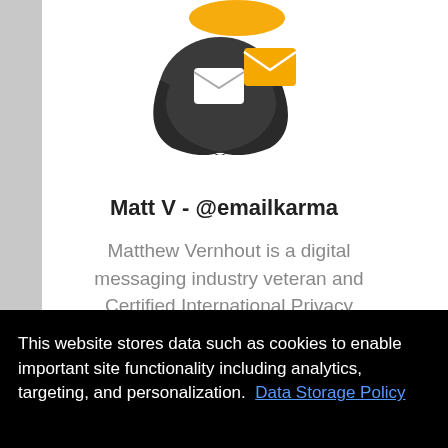[Figure (logo): Email karma logo: a dark bird/wing shape with envelope and orange halo on top]
Matt V - @emailkarma
Matthew Vernhout is a digital messaging industry veteran and Certified International Privacy Professional (Canada) (CIPP/C) with nearly two decades of experience in email marketing. Matthew
This website stores data such as cookies to enable important site functionality including analytics, targeting, and personalization.  Data Storage Policy